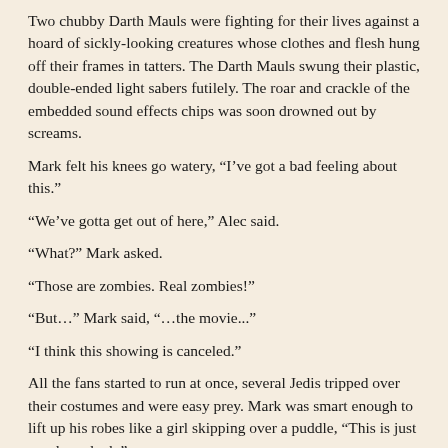Two chubby Darth Mauls were fighting for their lives against a hoard of sickly-looking creatures whose clothes and flesh hung off their frames in tatters. The Darth Mauls swung their plastic, double-ended light sabers futilely. The roar and crackle of the embedded sound effects chips was soon drowned out by screams.
Mark felt his knees go watery, “I’ve got a bad feeling about this.”
“We’ve gotta get out of here,” Alec said.
“What?” Mark asked.
“Those are zombies. Real zombies!”
“But…” Mark said, “…the movie...”
“I think this showing is canceled.”
All the fans started to run at once, several Jedis tripped over their costumes and were easy prey. Mark was smart enough to lift up his robes like a girl skipping over a puddle, “This is just my damn luck.”
“It’s not all about you buddy,” Alec led him back to where they